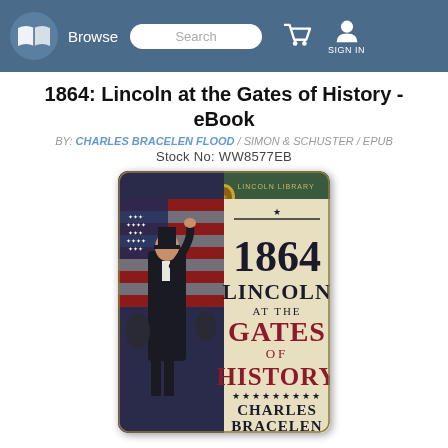Browse | Search | Cart | SIGN IN
1864: Lincoln at the Gates of History - eBook
BY: CHARLES BRACELEN FLOOD / SIMON & SCHUSTER / EPUB
Stock No: WW8577EB
[Figure (illustration): Book cover of '1864: Lincoln at the Gates of History' by Charles Bracelen Flood, published by Simon & Schuster Lincoln Library. Cover shows a painted illustration of Abraham Lincoln raising his hand in front of an American flag with soldiers nearby. The title '1864 LINCOLN AT THE GATES OF HISTORY' appears in large text with author name 'CHARLES BRACELEN' below. Stars and decorative elements on cream/tan background.]